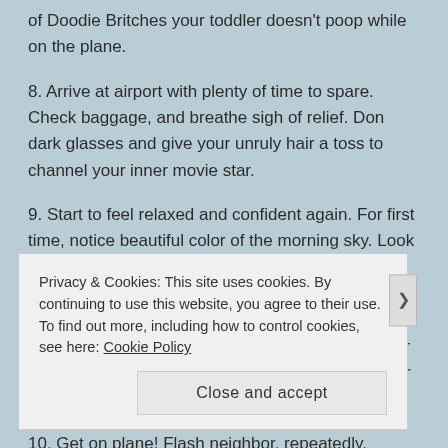of Doodie Britches your toddler doesn't poop while on the plane.
8. Arrive at airport with plenty of time to spare. Check baggage, and breathe sigh of relief. Don dark glasses and give your unruly hair a toss to channel your inner movie star.
9. Start to feel relaxed and confident again. For first time, notice beautiful color of the morning sky. Look down at child to try to share this moment, only to witness child lick handle of baggage cart. Make mental note to not share water with child for a day or two. Take off dark glasses and pull hair into your standard pony tail so you can more closely monitor child's behavior.
10. Get on plane! Flash neighbor, repeatedly. Wrangle wiggly toddler
Privacy & Cookies: This site uses cookies. By continuing to use this website, you agree to their use.
To find out more, including how to control cookies, see here: Cookie Policy
Close and accept